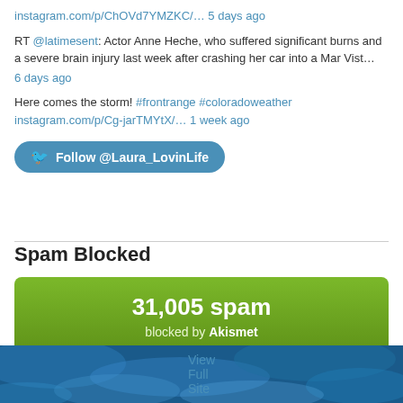instagram.com/p/ChOVd7YMZKC/… 5 days ago
RT @latimesent: Actor Anne Heche, who suffered significant burns and a severe brain injury last week after crashing her car into a Mar Vist… 6 days ago
Here comes the storm! #frontrange #coloradoweather instagram.com/p/Cg-jarTMYtX/… 1 week ago
Follow @Laura_LovinLife
Spam Blocked
31,005 spam blocked by Akismet
View Full Site